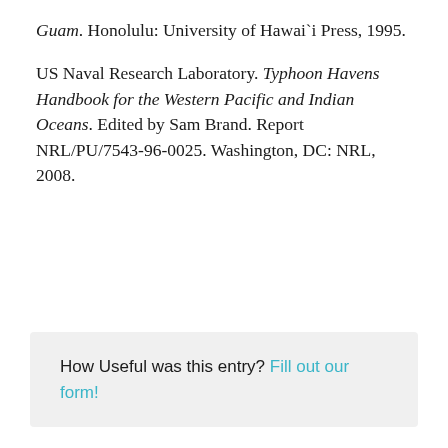Guam. Honolulu: University of Hawai`i Press, 1995.
US Naval Research Laboratory. Typhoon Havens Handbook for the Western Pacific and Indian Oceans. Edited by Sam Brand. Report NRL/PU/7543-96-0025. Washington, DC: NRL, 2008.
How Useful was this entry? Fill out our form!